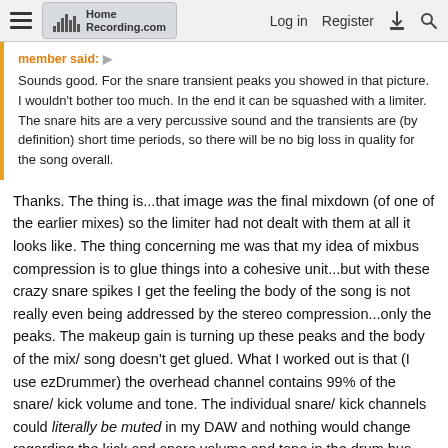HomeRecording.com — Log in  Register
member said:
Sounds good. For the snare transient peaks you showed in that picture. I wouldn't bother too much. In the end it can be squashed with a limiter. The snare hits are a very percussive sound and the transients are (by definition) short time periods, so there will be no big loss in quality for the song overall.
Thanks. The thing is...that image was the final mixdown (of one of the earlier mixes) so the limiter had not dealt with them at all it looks like. The thing concerning me was that my idea of mixbus compression is to glue things into a cohesive unit...but with these crazy snare spikes I get the feeling the body of the song is not really even being addressed by the stereo compression...only the peaks. The makeup gain is turning up these peaks and the body of the mix/ song doesn't get glued. What I worked out is that (I use ezDrummer) the overhead channel contains 99% of the snare/ kick volume and tone. The individual snare/ kick channels could literally be muted in my DAW and nothing would change regarding the kick and snare volume and tone in the drum bus. Crazy! So I realised that my